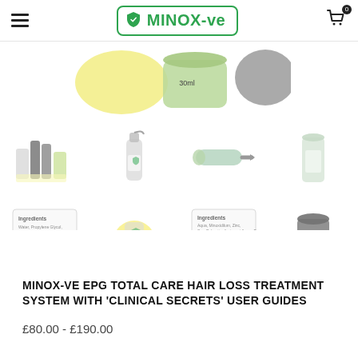MINOX-ve
[Figure (photo): MINOX-ve product gallery showing hair loss treatment products: a large hero image at top showing a green-capped jar with '30ml' label visible; below are 8 thumbnail product images in 3 rows: row 1 shows a group of bottles/vials, a spray bottle, a tube, and a tall dark-capped bottle; row 2 shows an ingredient list card, a yellow round product, an ingredient list card, and a dark supplement jar; row 3 shows another ingredient/info card. All images are slightly faded/transparent.]
MINOX-VE EPG TOTAL CARE HAIR LOSS TREATMENT SYSTEM WITH 'CLINICAL SECRETS' USER GUIDES
£80.00 - £190.00